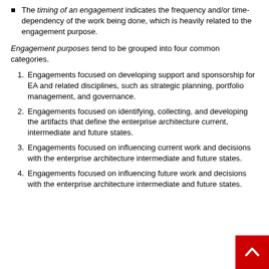The timing of an engagement indicates the frequency and/or time-dependency of the work being done, which is heavily related to the engagement purpose.
Engagement purposes tend to be grouped into four common categories.
Engagements focused on developing support and sponsorship for EA and related disciplines, such as strategic planning, portfolio management, and governance.
Engagements focused on identifying, collecting, and developing the artifacts that define the enterprise architecture current, intermediate and future states.
Engagements focused on influencing current work and decisions with the enterprise architecture intermediate and future states.
Engagements focused on influencing future work and decisions with the enterprise architecture intermediate and future states.